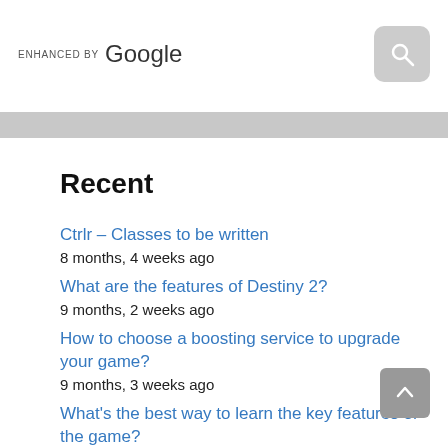[Figure (screenshot): Search bar with 'ENHANCED BY Google' text and a gray search button with magnifying glass icon]
Recent
Ctrlr – Classes to be written
8 months, 4 weeks ago
What are the features of Destiny 2?
9 months, 2 weeks ago
How to choose a boosting service to upgrade your game?
9 months, 3 weeks ago
What's the best way to learn the key features of the game?